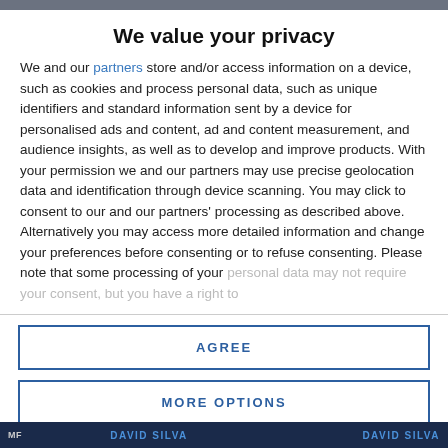We value your privacy
We and our partners store and/or access information on a device, such as cookies and process personal data, such as unique identifiers and standard information sent by a device for personalised ads and content, ad and content measurement, and audience insights, as well as to develop and improve products. With your permission we and our partners may use precise geolocation data and identification through device scanning. You may click to consent to our and our partners' processing as described above. Alternatively you may access more detailed information and change your preferences before consenting or to refuse consenting. Please note that some processing of your personal data may not require your consent, but you have a right to
AGREE
MORE OPTIONS
MF  DAVID SILVA  DAVID SILVA